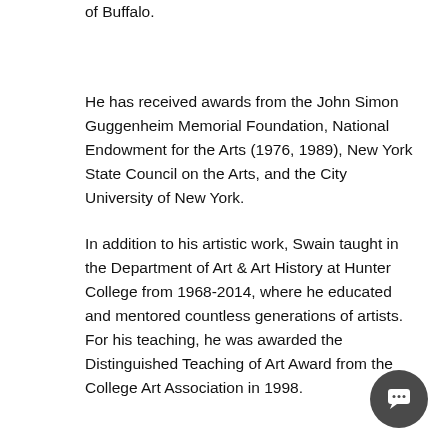of Buffalo.
He has received awards from the John Simon Guggenheim Memorial Foundation, National Endowment for the Arts (1976, 1989), New York State Council on the Arts, and the City University of New York.
In addition to his artistic work, Swain taught in the Department of Art & Art History at Hunter College from 1968-2014, where he educated and mentored countless generations of artists. For his teaching, he was awarded the Distinguished Teaching of Art Award from the College Art Association in 1998.